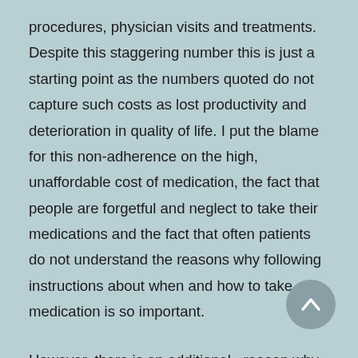procedures, physician visits and treatments. Despite this staggering number this is just a starting point as the numbers quoted do not capture such costs as lost productivity and deterioration in quality of life. I put the blame for this non-adherence on the high, unaffordable cost of medication, the fact that people are forgetful and neglect to take their medications and the fact that often patients do not understand the reasons why following instructions about when and how to take medication is so important.
However, there is an additional  reason why people often do not take their prescribed medication properly and that is because the devices that deliver the medication are not designed in a way that makes them easy to use. In fact ,some